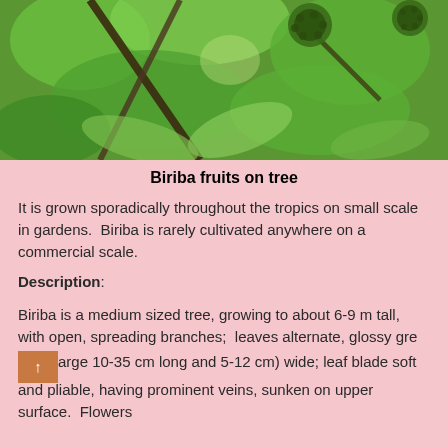[Figure (photo): Photo of biriba/soursop fruits hanging on a tree with green leaves and branches visible against a bright background]
Biriba fruits on tree
It is grown sporadically throughout the tropics on small scale in gardens.  Biriba is rarely cultivated anywhere on a commercial scale.
Description:
Biriba is a medium sized tree, growing to about 6-9 m tall, with open, spreading branches;  leaves alternate, glossy gree large 10-35 cm long and 5-12 cm) wide; leaf blade soft and pliable, having prominent veins, sunken on upper surface.  Flowers